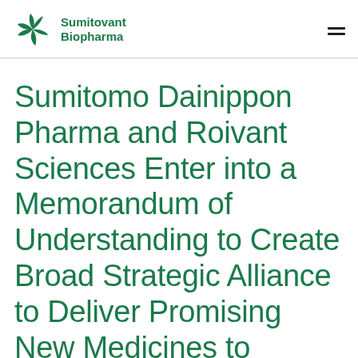Sumitovant Biopharma
Sumitomo Dainippon Pharma and Roivant Sciences Enter into a Memorandum of Understanding to Create Broad Strategic Alliance to Deliver Promising New Medicines to Patients